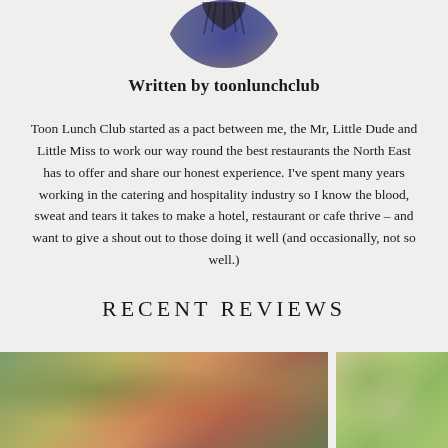[Figure (photo): Circular avatar photo partially cropped at top, showing a person with dark hair and blue/purple tones]
Written by toonlunchclub
Toon Lunch Club started as a pact between me, the Mr, Little Dude and Little Miss to work our way round the best restaurants the North East has to offer and share our honest experience. I've spent many years working in the catering and hospitality industry so I know the blood, sweat and tears it takes to make a hotel, restaurant or cafe thrive – and want to give a shout out to those doing it well (and occasionally, not so well.)
RECENT REVIEWS
[Figure (photo): Blurred food photo on the left side]
[Figure (photo): Blurred food photo on the right side]